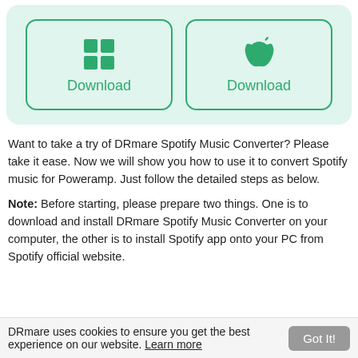[Figure (screenshot): Two download buttons side by side in a mint green card. Left button has Windows logo icon with 'Download' text in green. Right button has Apple logo icon with 'Download' text in green. Both have rounded rectangle borders in green.]
Want to take a try of DRmare Spotify Music Converter? Please take it ease. Now we will show you how to use it to convert Spotify music for Poweramp. Just follow the detailed steps as below.
Note: Before starting, please prepare two things. One is to download and install DRmare Spotify Music Converter on your computer, the other is to install Spotify app onto your PC from Spotify official website.
DRmare uses cookies to ensure you get the best experience on our website. Learn more  Got It!